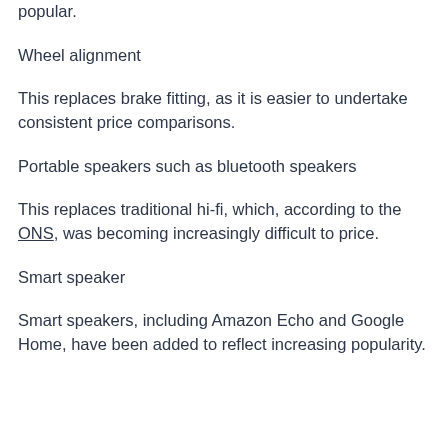popular.
Wheel alignment
This replaces brake fitting, as it is easier to undertake consistent price comparisons.
Portable speakers such as bluetooth speakers
This replaces traditional hi-fi, which, according to the ONS, was becoming increasingly difficult to price.
Smart speaker
Smart speakers, including Amazon Echo and Google Home, have been added to reflect increasing popularity.